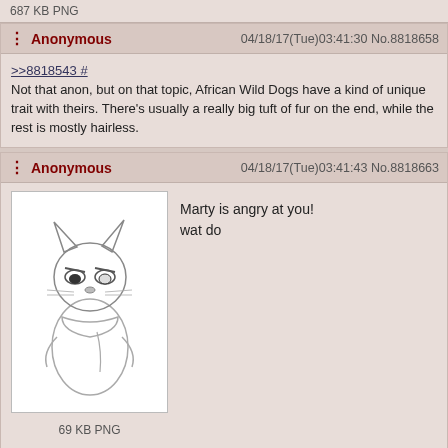687 KB PNG
Anonymous  04/18/17(Tue)03:41:30 No.8818658
>>8818543 #
Not that anon, but on that topic, African Wild Dogs have a kind of unique trait with theirs. There's usually a really big tuft of fur on the end, while the rest is mostly hairless.
Anonymous  04/18/17(Tue)03:41:43 No.8818663
[Figure (illustration): Sketch of an angry anthropomorphic cat/fox character (Marty) with a scarf, pencil sketch style]
Marty is angry at you!
wat do
69 KB PNG
>>8818678 # >>8818695 # >>8818723 # >>8818751 # >>8818762 # >>8818847 #
Anonymous  04/18/17(Tue)03:41:46 No.8818666
Haven't been here over the Easter long weekend, besides that cross word thing, did I miss much?
Anonymous  04/18/17(Tue)03:41:47 No.8818667